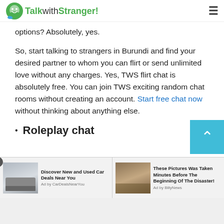TalkwithStranger!
options? Absolutely, yes.
So, start talking to strangers in Burundi and find your desired partner to whom you can flirt or send unlimited love without any charges. Yes, TWS flirt chat is absolutely free. You can join TWS exciting random chat rooms without creating an account. Start free chat now without thinking about anything else.
Roleplay chat